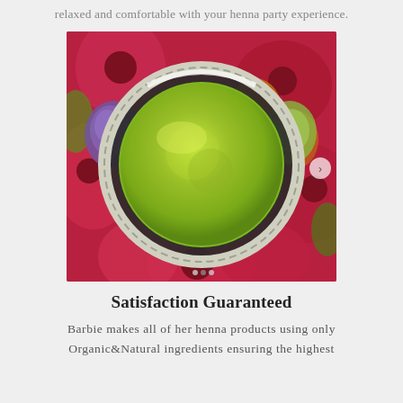relaxed and comfortable with your henna party experience.
[Figure (photo): A decorative bowl filled with green henna powder, surrounded by colorful floral fabric and gemstones.]
Satisfaction Guaranteed
Barbie makes all of her henna products using only Organic&Natural ingredients ensuring the highest